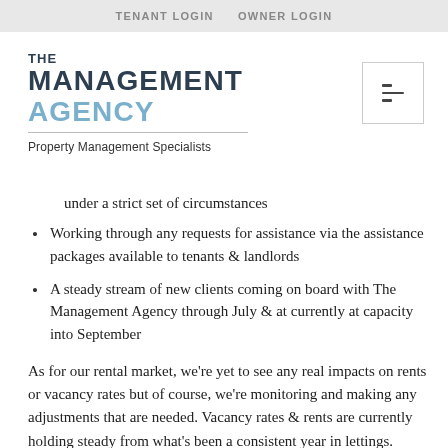TENANT LOGIN   OWNER LOGIN
THE MANAGEMENT AGENCY
Property Management Specialists
under a strict set of circumstances
Working through any requests for assistance via the assistance packages available to tenants & landlords
A steady stream of new clients coming on board with The Management Agency through July & at currently at capacity into September
As for our rental market, we're yet to see any real impacts on rents or vacancy rates but of course, we're monitoring and making any adjustments that are needed. Vacancy rates & rents are currently holding steady from what's been a consistent year in lettings.
Aside from that, we are essentially working as per normal. Just like